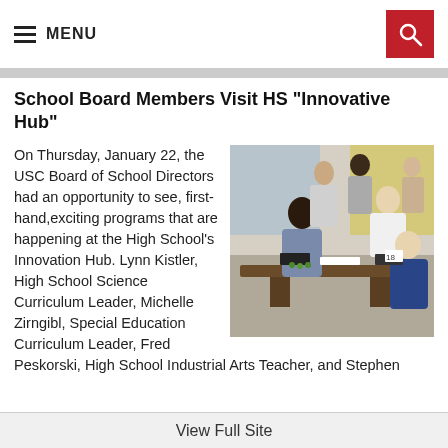MENU
School Board Members Visit HS "Innovative Hub"
[Figure (photo): Students and adults working at tables in a classroom, representing the High School Innovation Hub visit by USC Board of School Directors.]
On Thursday, January 22, the USC Board of School Directors had an opportunity to see, first-hand,exciting programs that are happening at the High School's Innovation Hub. Lynn Kistler, High School Science Curriculum Leader, Michelle Zirngibl, Special Education Curriculum Leader, Fred Peskorski, High School Industrial Arts Teacher, and Stephen
View Full Site